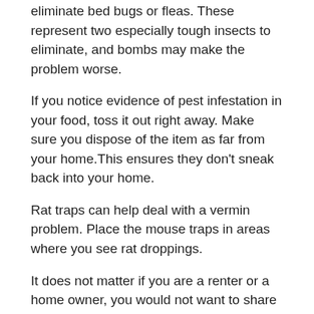Don't waste your money buying any types of bombs to eliminate bed bugs or fleas. These represent two especially tough insects to eliminate, and bombs may make the problem worse.
If you notice evidence of pest infestation in your food, toss it out right away. Make sure you dispose of the item as far from your home.This ensures they don't sneak back into your home.
Rat traps can help deal with a vermin problem. Place the mouse traps in areas where you see rat droppings.
It does not matter if you are a renter or a home owner, you would not want to share your home with pests. Tell pests that they are no longer welcome in your home. Act now so that you can turn on a light at night and not see critters scurrying for cover.